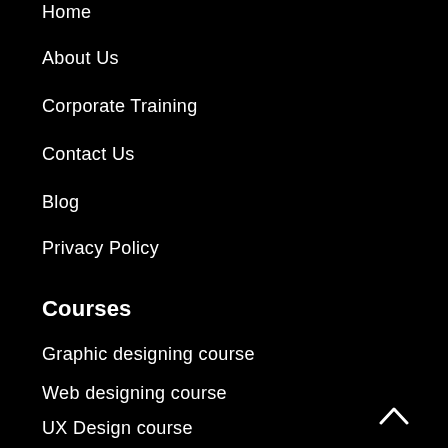Home
About Us
Corporate Training
Contact Us
Blog
Privacy Policy
Courses
Graphic designing course
Web designing course
UX Design course